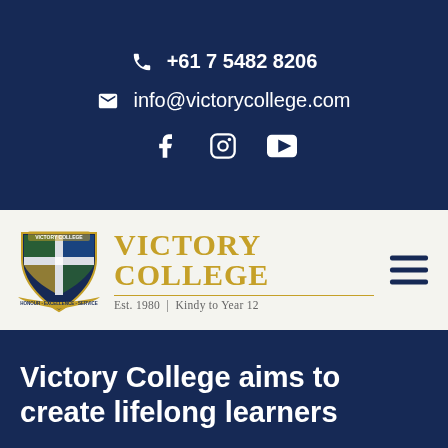+61 7 5482 8206
info@victorycollege.com
[Figure (logo): Facebook, Instagram, YouTube social media icons]
[Figure (logo): Victory College crest/shield logo with scrolls reading HONOUR EXCELLENCE SERVICE]
VICTORY COLLEGE
Est. 1980  |  Kindy to Year 12
Victory College aims to create lifelong learners